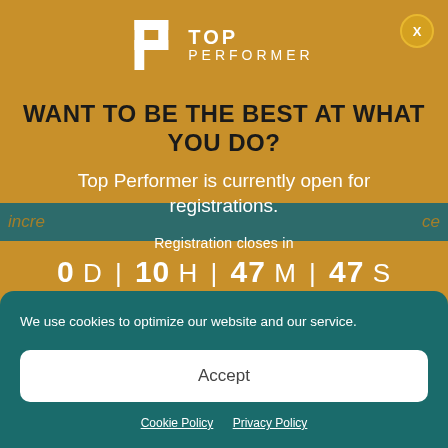[Figure (logo): Top Performer logo with stylized P shape and text TOP PERFORMER]
WANT TO BE THE BEST AT WHAT YOU DO?
Top Performer is currently open for registrations.
Registration closes in
0 D | 10 H | 47 M | 47 S
LEARN MORE!
incre... ...ce
We use cookies to optimize our website and our service.
Accept
Cookie Policy   Privacy Policy